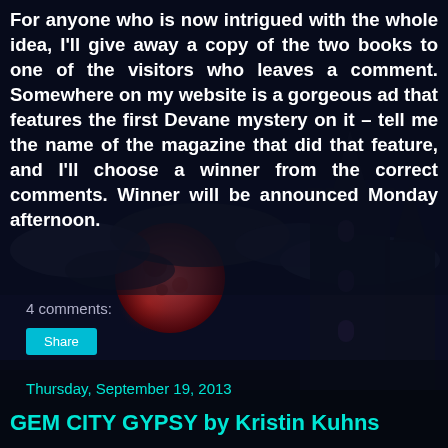[Figure (illustration): Dark fantasy background with a gothic castle tower, large red moon, dramatic cloudy night sky in dark blue and purple tones]
For anyone who is now intrigued with the whole idea, I'll give away a copy of the two books to one of the visitors who leaves a comment. Somewhere on my website is a gorgeous ad that features the first Devane mystery on it – tell me the name of the magazine that did that feature, and I'll choose a winner from the correct comments. Winner will be announced Monday afternoon.
4 comments:
Share
Thursday, September 19, 2013
GEM CITY GYPSY by Kristin Kuhns